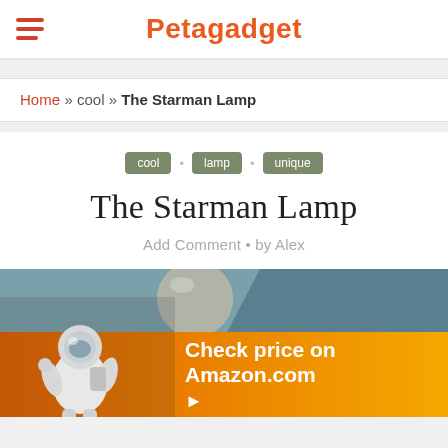Petagadget
Home » cool » The Starman Lamp
cool • lamp • unique
The Starman Lamp
Add Comment • by Alex
[Figure (photo): The Starman Lamp product photo showing an astronaut-shaped lamp with a spherical head, teal/gray background, with an Amazon 'Check price on Amazon.com' call-to-action overlay bar in orange/yellow gradient.]
Check price on Amazon.com